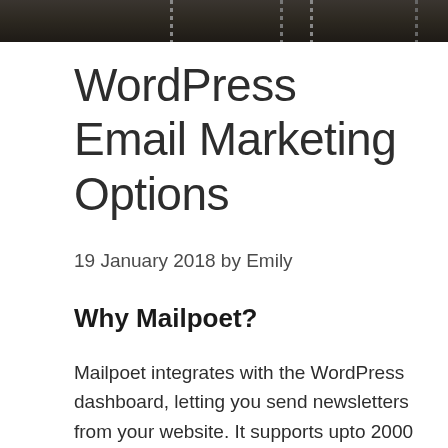[Figure (photo): A dark/dimly lit photograph, partially visible at the top of the page, showing an interior scene with decorative ball-chain curtain or partition elements visible.]
WordPress Email Marketing Options
19 January 2018 by Emily
Why Mailpoet?
Mailpoet integrates with the WordPress dashboard, letting you send newsletters from your website. It supports upto 2000 subscribers for free and Does Not Require Attribution. The drag-and-drop editor is easy to use. You can schedule a newsletter, send a newsletter (or series) automatically when